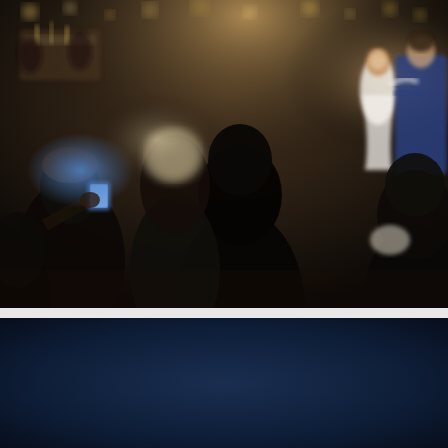[Figure (photo): A wedding reception scene photographed in dim indoor lighting. In the background, a bride in a white dress and groom in a blue suit embrace and dance, illuminated by warm light. In the foreground, silhouetted wedding guests watch the first dance, with one guest on the left holding up a smartphone to photograph the couple. The scene has a dark, atmospheric quality with bokeh lighting visible in the upper background.]
[Figure (photo): Dark navy blue background section, lower portion of the page, appearing as a deep dark blue gradient panel.]